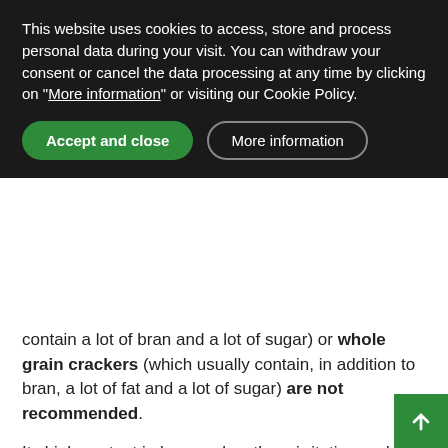This website uses cookies to access, store and process personal data during your visit. You can withdraw your consent or cancel the data processing at any time by clicking on "More information" or visiting our Cookie Policy.
Accept and close
More information
contain a lot of bran and a lot of sugar) or whole grain crackers (which usually contain, in addition to bran, a lot of fat and a lot of sugar) are not recommended.
Its high content in bran makes them irritating and can produce diarrhea or even intestinal plugs. In addition, at the nutritional level they do not provide anything interesting that does not contain natural foods.
Laxative foods that help evacuate
In periods of constipation, the use of foods such as those mentioned may be adequate: wholemeal bread, nuts, seeds (ground chia or flax seeds) and whole